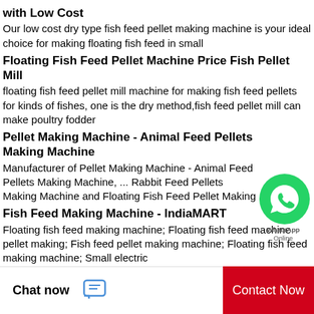with Low Cost
Our low cost dry type fish feed pellet making machine is your ideal choice for making floating fish feed in small
Floating Fish Feed Pellet Machine Price Fish Pellet Mill
floating fish feed pellet mill machine for making fish feed pellets for kinds of fishes, one is the dry method,fish feed pellet mill can make poultry fodder
Pellet Making Machine - Animal Feed Pellets Making Machine
Manufacturer of Pellet Making Machine - Animal Feed Pellets Making Machine, ... Rabbit Feed Pellets Making Machine and Floating Fish Feed Pellet Making
Fish Feed Making Machine - IndiaMART
Floating fish feed making machine; Floating fish feed machine pellet making; Fish feed pellet making machine; Floating fish feed making machine; Small electric floating fish feed pellet machine, floating fish
[Figure (logo): WhatsApp green circle button with phone icon, labeled WhatsApp Online]
Chat now
Contact Now